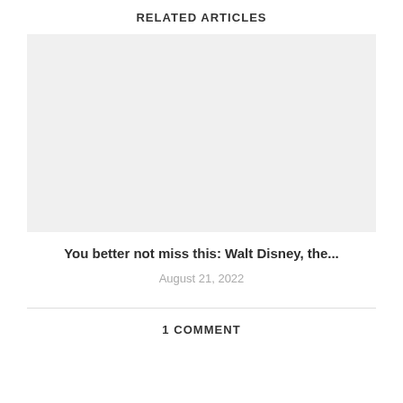RELATED ARTICLES
[Figure (photo): Placeholder image area with light gray background for a related article thumbnail]
You better not miss this: Walt Disney, the...
August 21, 2022
1 COMMENT